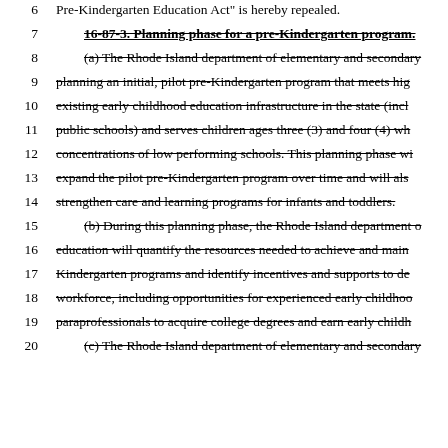6   Pre-Kindergarten Education Act" is hereby repealed.
7   16-87-3. Planning phase for a pre-Kindergarten program.
8   (a) The Rhode Island department of elementary and secondary
9   planning an initial, pilot pre-Kindergarten program that meets hig
10  existing early childhood education infrastructure in the state (incl
11  public schools) and serves children ages three (3) and four (4) wh
12  concentrations of low performing schools. This planning phase wi
13  expand the pilot pre-Kindergarten program over time and will als
14  strengthen care and learning programs for infants and toddlers.
15  (b) During this planning phase, the Rhode Island department o
16  education will quantify the resources needed to achieve and main
17  Kindergarten programs and identify incentives and supports to de
18  workforce, including opportunities for experienced early childhoo
19  paraprofessionals to acquire college degrees and earn early childh
20  (c) The Rhode Island department of elementary and secondary